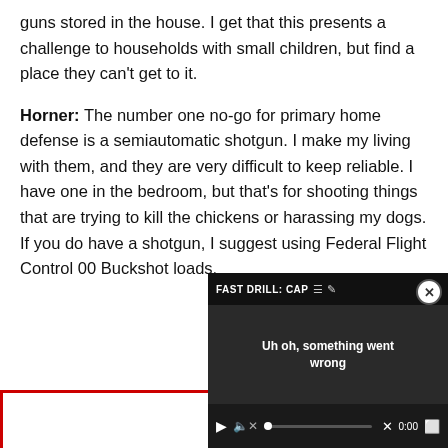guns stored in the house. I get that this presents a challenge to households with small children, but find a place they can't get to it.
Horner: The number one no-go for primary home defense is a semiautomatic shotgun. I make my living with them, and they are very difficult to keep reliable. I have one in the bedroom, but that's for shooting things that are trying to kill the chickens or harassing my dogs. If you do have a shotgun, I suggest using Federal Flight Control 00 Buckshot loads.
[Figure (screenshot): Video player overlay showing error state. Title reads 'FAST DRILL: CAP...' with icons. Error message reads 'Uh oh, something went wrong'. Controls show play button, mute icon, progress bar with X mark, time 0:00, and expand button. Close (x) button in top right corner.]